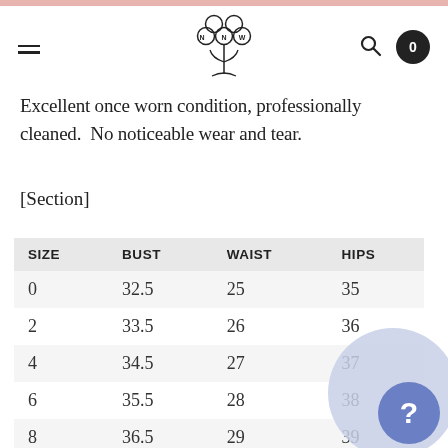NNW logo, hamburger menu, search icon, cart (0)
Excellent once worn condition, professionally cleaned.  No noticeable wear and tear.
[Section]
| SIZE | BUST | WAIST | HIPS |
| --- | --- | --- | --- |
| 0 | 32.5 | 25 | 35 |
| 2 | 33.5 | 26 | 36 |
| 4 | 34.5 | 27 | 37 |
| 6 | 35.5 | 28 | 38 |
| 8 | 36.5 | 29 | 39 |
| 10 | 37.5 | 30 | 40 |
| 12 | 39 | 31.5 | 41.5 |